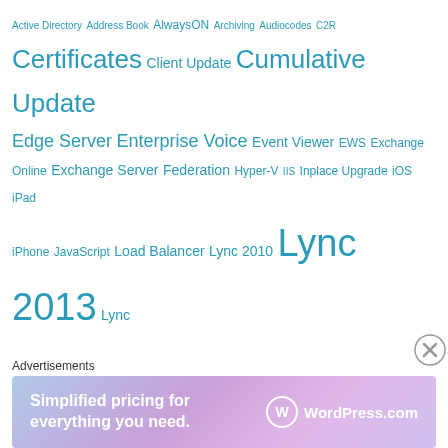[Figure (infographic): Tag cloud with various technology terms in different sizes, all in teal/blue color. Larger terms indicate higher frequency: Lync Server 2013 (largest), PowerShell, Lync 2013, Lync Server 2010, Certificates, Cumulative Update, SfB, etc. Smaller terms include Active Directory, Address Book, AlwaysON, Archiving, Audiocodes, C2R, Client Update, Edge Server, Enterprise Voice, Event Viewer, EWS, Exchange Online, Exchange Server, Federation, Hyper-V, IIS, Inplace Upgrade, iOS, iPad, iPhone, JavaScript, Load Balancer, Lync 2010, Lync Phone Edition, Mac, Meet Addin, MSI, MSPL, MS Teams, OCS 2007, OCS 2007 R2, Office 365, Persistent Chat, Phone Edition, Polycom, Proxy, Proxy PAC, PSScript, RegKey, Reverse Proxy, Service Fabric, SfB 2015, SfB 2016, SfB Mac, SfB Online.]
[Figure (infographic): Advertisements banner with WordPress.com ad: 'Simplified pricing for everything you need.' with WordPress.com logo. Close button (X in circle) visible on right side.]